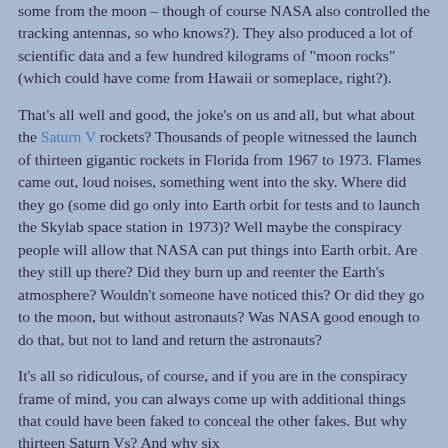some from the moon – though of course NASA also controlled the tracking antennas, so who knows?). They also produced a lot of scientific data and a few hundred kilograms of "moon rocks" (which could have come from Hawaii or someplace, right?).
That's all well and good, the joke's on us and all, but what about the Saturn V rockets? Thousands of people witnessed the launch of thirteen gigantic rockets in Florida from 1967 to 1973. Flames came out, loud noises, something went into the sky. Where did they go (some did go only into Earth orbit for tests and to launch the Skylab space station in 1973)? Well maybe the conspiracy people will allow that NASA can put things into Earth orbit. Are they still up there? Did they burn up and reenter the Earth's atmosphere? Wouldn't someone have noticed this? Or did they go to the moon, but without astronauts? Was NASA good enough to do that, but not to land and return the astronauts?
It's all so ridiculous, of course, and if you are in the conspiracy frame of mind, you can always come up with additional things that could have been faked to conceal the other fakes. But why thirteen Saturn Vs? And why six...